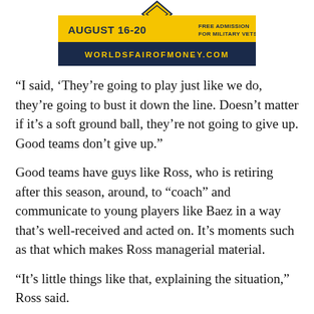[Figure (infographic): Advertisement banner for World's Fair of Money. Dark navy blue and yellow design. Shows 'AUGUST 16-20' on the left, 'FREE ADMISSION FOR MILITARY VETS' on the right, a diamond/baseball diamond shape at the top center, and 'WORLDSFAIROFMONEY.COM' in yellow text on navy banner below.]
“I said, ‘They’re going to play just like we do, they’re going to bust it down the line. Doesn’t matter if it’s a soft ground ball, they’re not going to give up. Good teams don’t give up.”
Good teams have guys like Ross, who is retiring after this season, around, to “coach” and communicate to young players like Baez in a way that’s well-received and acted on. It’s moments such as that which makes Ross managerial material.
“It’s little things like that, explaining the situation,” Ross said.